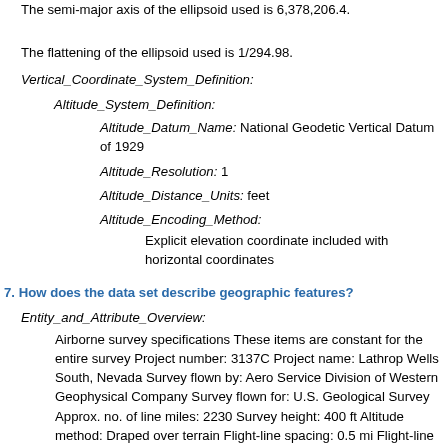The semi-major axis of the ellipsoid used is 6,378,206.4.
The flattening of the ellipsoid used is 1/294.98.
Vertical_Coordinate_System_Definition:
Altitude_System_Definition:
Altitude_Datum_Name: National Geodetic Vertical Datum of 1929
Altitude_Resolution: 1
Altitude_Distance_Units: feet
Altitude_Encoding_Method:
Explicit elevation coordinate included with horizontal coordinates
7. How does the data set describe geographic features?
Entity_and_Attribute_Overview:
Airborne survey specifications These items are constant for the entire survey Project number: 3137C Project name: Lathrop Wells South, Nevada Survey flown by: Aero Service Division of Western Geophysical Company Survey flown for: U.S. Geological Survey Approx. no. of line miles: 2230 Survey height: 400 ft Altitude method: Draped over terrain Flight-line spacing: 0.5 mi Flight-line direction: E-W Aircraft used: unknown Airport - arrival: